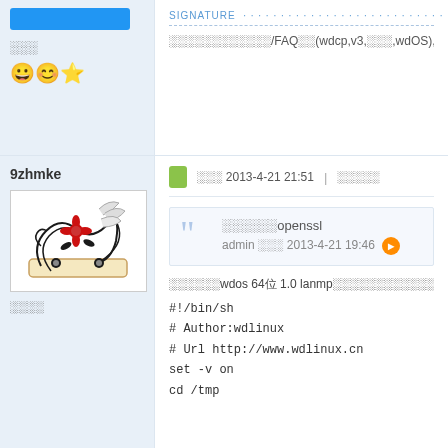[Figure (screenshot): Top-left panel with blue bar, username text, and emoji icons on light blue background]
SIGNATURE -- [signature text with FAQ, wdcp, v3, wdOS references]
9zhmke
[Figure (photo): User avatar image with decorative floral/scroll design in black and red]
用户组（rank label）
发表 2013-4-21 21:51 | 举报帖子
Quote: 求推荐openssl / admin 发表 2013-4-21 19:46
我用的是wdos 64位 1.0 lanmp版...
#!/bin/sh
# Author:wdlinux
# Url http://www.wdlinux.cn
set -v on
cd /tmp